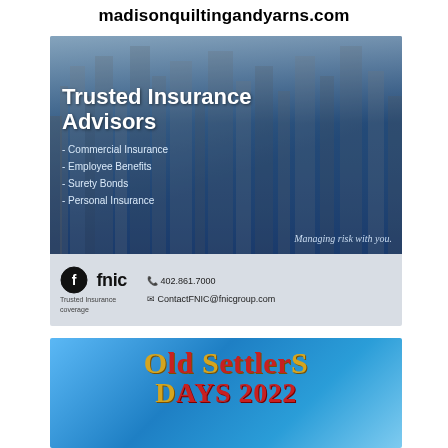madisonquiltingandyarns.com
[Figure (advertisement): FNIC Trusted Insurance Advisors advertisement with city skyline background, listing Commercial Insurance, Employee Benefits, Surety Bonds, Personal Insurance. Tagline: Managing risk with you. Contact: 402.861.7000, ContactFNIC@fnicgroup.com]
[Figure (advertisement): Old Settlers Days 2022 advertisement with blue gradient background]